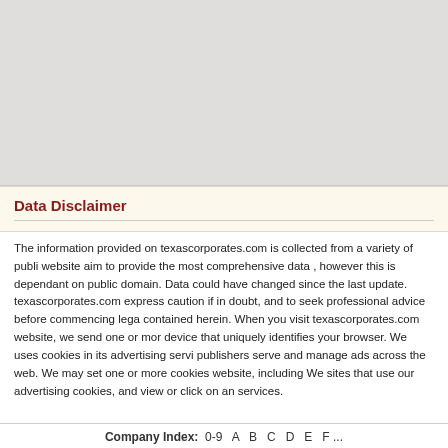[Figure (map): Gray map placeholder area]
Data Disclaimer
The information provided on texascorporates.com is collected from a variety of public sources. The website aim to provide the most comprehensive data , however this is dependant on sources in the public domain. Data could have changed since the last update. texascorporates.com would like to express caution if in doubt, and to seek professional advice before commencing legal action based on information contained herein. When you visit texascorporates.com website, we send one or more cookies to your device that uniquely identifies your browser. We uses cookies in its advertising services to help publishers serve and manage ads across the web. We may set one or more cookies in your browser on each website, including We sites that use our advertising cookies, and view or click on an ad or visit a website that uses our advertising services.
Company Index:  0-9  A  B  C  D  E ...